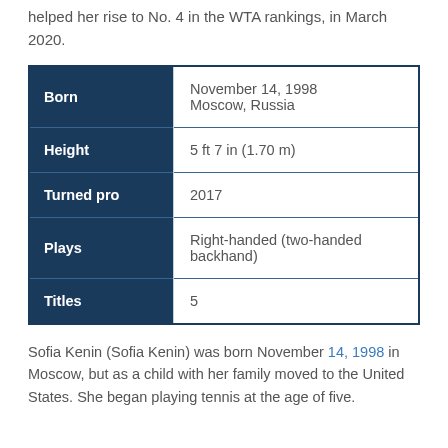helped her rise to No. 4 in the WTA rankings, in March 2020.
|  |  |
| --- | --- |
| Born | November 14, 1998
Moscow, Russia |
| Height | 5 ft 7 in (1.70 m) |
| Turned pro | 2017 |
| Plays | Right-handed (two-handed backhand) |
| Titles | 5 |
Sofia Kenin (Sofia Kenin) was born November 14, 1998 in Moscow, but as a child with her family moved to the United States. She began playing tennis at the age of five.